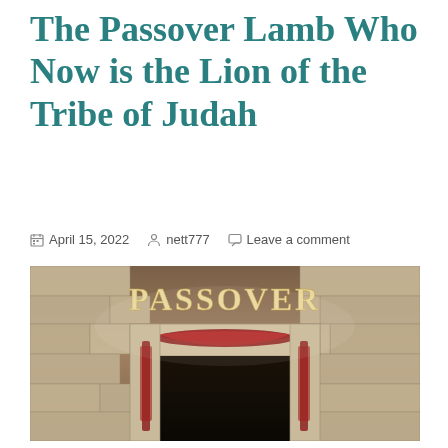The Passover Lamb Who Now is the Lion of the Tribe of Judah
April 15, 2022   nett777   Leave a comment
[Figure (photo): A stone doorway or archway with the word PASSOVER written in large golden/cream serif capital letters across the top. The doorway is dark inside, and red paint or blood marks are visible on the top lintel and on both sides of the doorframe, reminiscent of the Passover story in Exodus. The background stone wall is lit with a warm brownish light.]